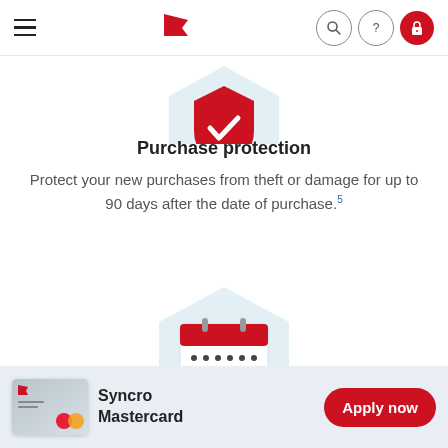Navigation bar with hamburger menu, logo, search, help, and login icons
[Figure (illustration): Partial red shield icon on light blue hexagon background, cropped at top]
Purchase protection
Protect your new purchases from theft or damage for up to 90 days after the date of purchase.5
[Figure (illustration): Calendar icon with red header and dots representing days, on light blue hexagon background, partially visible at bottom]
[Figure (illustration): Syncro Mastercard credit card image]
Syncro Mastercard
Apply now